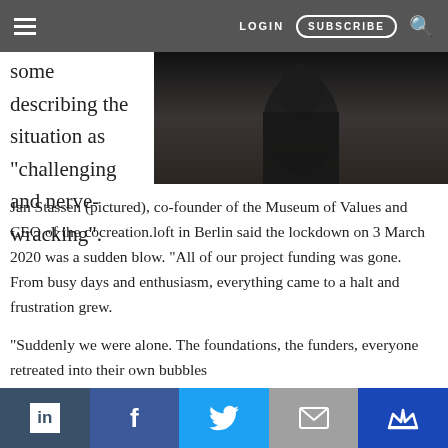LOGIN  SUBSCRIBE
[Figure (photo): Portrait photo of Jan Stassen, partially visible, dark background]
some describing the situation as “challenging and nerve-wracking”.
Jan Stassen (pictured), co-founder of the Museum of Values and CEO of the cocreation.loft in Berlin said the lockdown on 3 March 2020 was a sudden blow. “All of our project funding was gone. From busy days and enthusiasm, everything came to a halt and frustration grew.
“Suddenly we were alone. The foundations, the funders, everyone retreated into their own bubbles
LinkedIn  Facebook  Twitter  Email  Crown